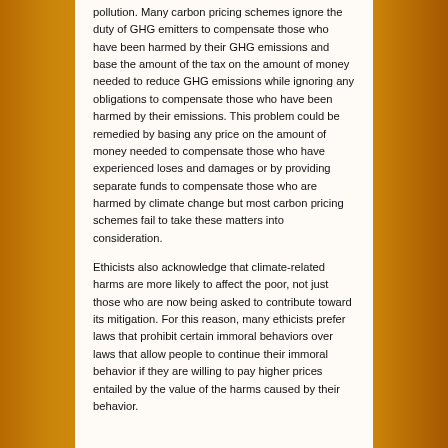pollution. Many carbon pricing schemes ignore the duty of GHG emitters to compensate those who have been harmed by their GHG emissions and base the amount of the tax on the amount of money needed to reduce GHG emissions while ignoring any obligations to compensate those who have been harmed by their emissions. This problem could be remedied by basing any price on the amount of money needed to compensate those who have experienced loses and damages or by providing separate funds to compensate those who are harmed by climate change but most carbon pricing schemes fail to take these matters into consideration.
Ethicists also acknowledge that climate-related harms are more likely to affect the poor, not just those who are now being asked to contribute toward its mitigation. For this reason, many ethicists prefer laws that prohibit certain immoral behaviors over laws that allow people to continue their immoral behavior if they are willing to pay higher prices entailed by the value of the harms caused by their behavior.